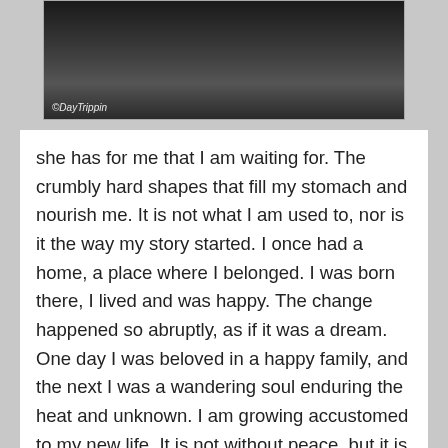[Figure (photo): A dark black and white landscape photograph with a watermark reading '©DayTrippin' in the lower left corner.]
she has for me that I am waiting for. The crumbly hard shapes that fill my stomach and nourish me. It is not what I am used to, nor is it the way my story started. I once had a home, a place where I belonged. I was born there, I lived and was happy. The change happened so abruptly, as if it was a dream. One day I was beloved in a happy family, and the next I was a wandering soul enduring the heat and unknown. I am growing accustomed to my new life. It is not without peace, but it is just hard. Trying to find food, water, shelter and protection from the world. I used to have that, before that day, and I hope to find that again. Each new day is a victory, it means that I have survived to see another sunrise. It means that the memories